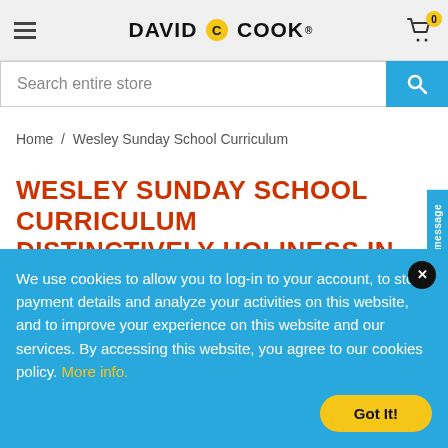DAVID C COOK
Search entire store
Home / Wesley Sunday School Curriculum
WESLEY SUNDAY SCHOOL CURRICULUM DISTINCTIVELY HOLINESS IN NAME
We use cookies to allow you to log-in to your account, to store payment details and analyze your activities on this website, and to improve your experience on this website and our services. By accessing this website, you agree to our cookies policy. More info.